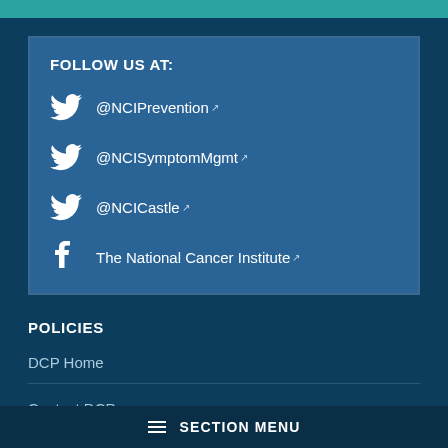FOLLOW US AT:
@NCIPrevention
@NCISymptomMgmt
@NCICastle
The National Cancer Institute
POLICIES
DCP Home
Contact DCP
SECTION MENU